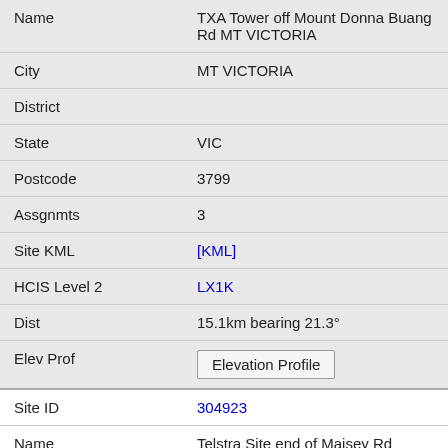| Field | Value |
| --- | --- |
| Name | TXA Tower off Mount Donna Buang Rd MT VICTORIA |
| City | MT VICTORIA |
| District |  |
| State | VIC |
| Postcode | 3799 |
| Assgnmts | 3 |
| Site KML | [KML] |
| HCIS Level 2 | LX1K |
| Dist | 15.1km bearing 21.3° |
| Elev Prof | Elevation Profile |
| Site ID | 304923 |
| Name | Telstra Site end of Maisey Rd GEMBROOK |
| City | GEMBROOK |
| District |  |
| State | VIC |
| Postcode | 3781 |